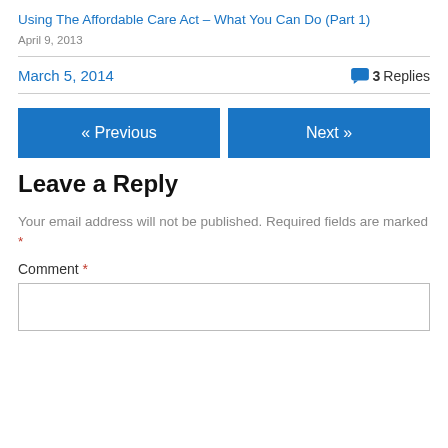Using The Affordable Care Act – What You Can Do (Part 1)
April 9, 2013
March 5, 2014
3 Replies
« Previous
Next »
Leave a Reply
Your email address will not be published. Required fields are marked *
Comment *